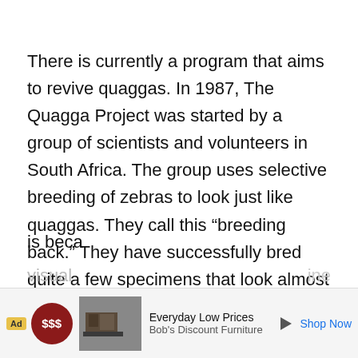There is currently a program that aims to revive quaggas. In 1987, The Quagga Project was started by a group of scientists and volunteers in South Africa. The group uses selective breeding of zebras to look just like quaggas. They call this “breeding back.” They have successfully bred quite a few specimens that look almost identical to the original quaggas. The question posed by many is whether these animals could be true quaggas genetically. This is beca[use the quaggas could only be identified] visual[ly]
[Figure (other): Advertisement banner at the bottom of the page. Shows 'Ad' label, a red circular icon, a furniture image, text 'Everyday Low Prices / Bob's Discount Furniture', a play button icon, and 'Shop Now' link in blue.]